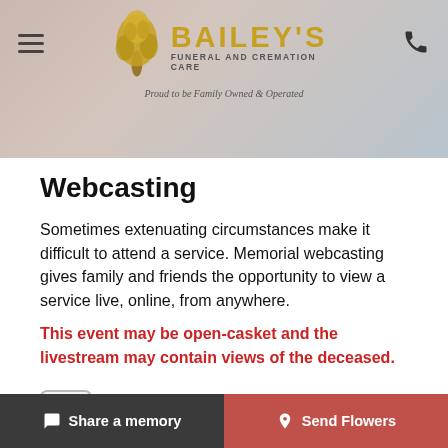[Figure (logo): Bailey's Funeral and Cremation Care logo with tree graphic and tagline 'Proud to be Family Owned & Operated']
Webcasting
Sometimes extenuating circumstances make it difficult to attend a service. Memorial webcasting gives family and friends the opportunity to view a service live, online, from anywhere.
This event may be open-casket and the livestream may contain views of the deceased.
Watch Webcast
Note: Only supported in up-to-date browser versions
Share a memory   Send Flowers